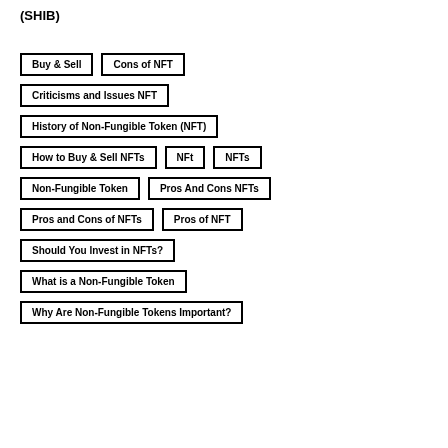(SHIB)
Buy & Sell
Cons of NFT
Criticisms and Issues NFT
History of Non-Fungible Token (NFT)
How to Buy & Sell NFTs
NFt
NFTs
Non-Fungible Token
Pros And Cons NFTs
Pros and Cons of NFTs
Pros of NFT
Should You Invest in NFTs?
What is a Non-Fungible Token
Why Are Non-Fungible Tokens Important?